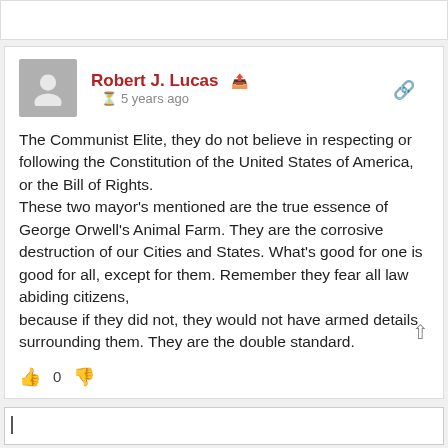Robert J. Lucas · 5 years ago
The Communist Elite, they do not believe in respecting or following the Constitution of the United States of America, or the Bill of Rights.
These two mayor's mentioned are the true essence of George Orwell's Animal Farm. They are the corrosive destruction of our Cities and States. What's good for one is good for all, except for them. Remember they fear all law abiding citizens,
because if they did not, they would not have armed details surrounding them. They are the double standard.